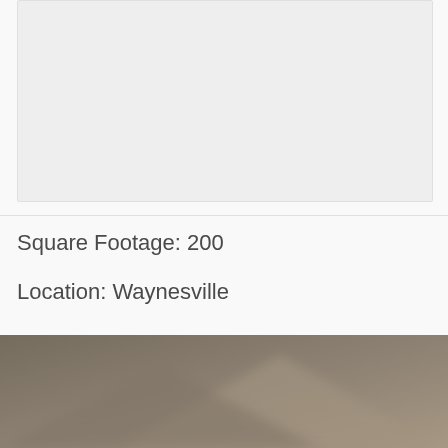[Figure (photo): Light gray placeholder image box at the top of the page]
Square Footage: 200
Location: Waynesville
[Figure (photo): Blurred interior room photo at the bottom showing muted brown and tan geometric shapes]